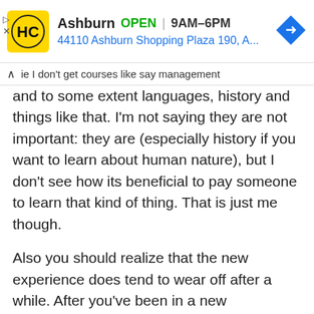[Figure (screenshot): Advertisement banner for HC Ashburn location showing yellow logo, OPEN status, hours 9AM-6PM, address 44110 Ashburn Shopping Plaza 190 A..., and a blue navigation arrow icon]
ie I don't get courses like say management and to some extent languages, history and things like that. I'm not saying they are not important: they are (especially history if you want to learn about human nature), but I don't see how its beneficial to pay someone to learn that kind of thing. That is just me though.
Also you should realize that the new experience does tend to wear off after a while. After you've been in a new environment, it loses that facade that it had when you were first exposed to it.
With that...